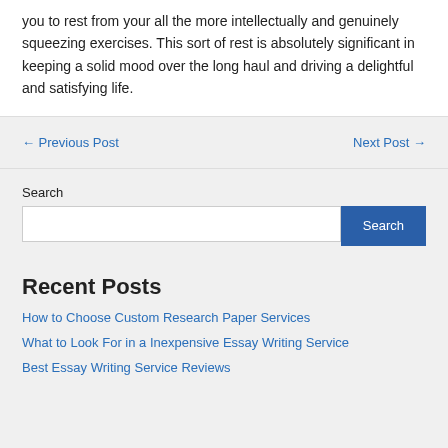you to rest from your all the more intellectually and genuinely squeezing exercises. This sort of rest is absolutely significant in keeping a solid mood over the long haul and driving a delightful and satisfying life.
← Previous Post
Next Post →
Search
Recent Posts
How to Choose Custom Research Paper Services
What to Look For in a Inexpensive Essay Writing Service
Best Essay Writing Service Reviews